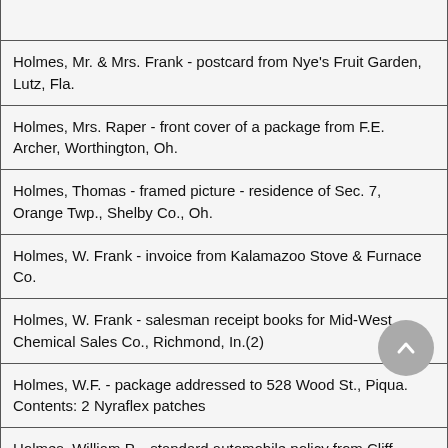Holmes, Mr. & Mrs. Frank - postcard from Nye's Fruit Garden, Lutz, Fla.
Holmes, Mrs. Raper - front cover of a package from F.E. Archer, Worthington, Oh.
Holmes, Thomas - framed picture - residence of Sec. 7, Orange Twp., Shelby Co., Oh.
Holmes, W. Frank - invoice from Kalamazoo Stove & Furnace Co.
Holmes, W. Frank - salesman receipt books for Mid-West Chemical Sales Co., Richmond, In.(2)
Holmes, W.F. - package addressed to 528 Wood St., Piqua. Contents: 2 Nyraflex patches
Holmes, William P. - standard automobile policy from Cliff